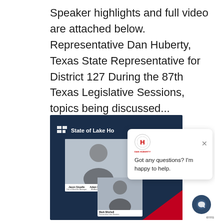Speaker highlights and full video are attached below.   Representative Dan Huberty, Texas State Representative for District 127 During the 87th Texas Legislative Sessions, topics being discussed...
[Figure (screenshot): Screenshot of a 'State of Lake Houston' event webpage with a dark navy blue panel showing speaker headshots (Jason Snuelle - City of Humble Manager, Adam McAlpine - McAlpine Interests, John Flournoy - McCord Development, and Mark Mitchell - Partnership Lake Houston), overlaid with a chat popup bubble saying 'Got any questions? I'm happy to help.' with a close X button and a logo at the top.]